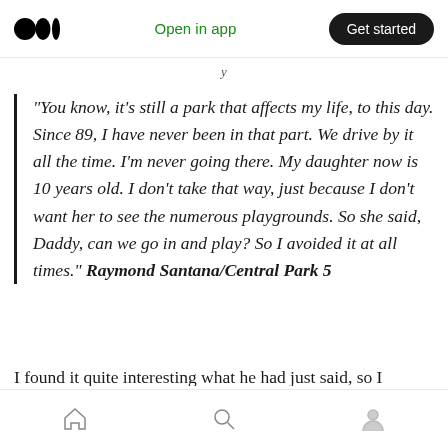Medium app header with logo, Open in app link, and Get started button
“You know, it’s still a park that affects my life, to this day. Since 89, I have never been in that part. We drive by it all the time. I’m never going there. My daughter now is 10 years old. I don’t take that way, just because I don’t want her to see the numerous playgrounds. So she said, Daddy, can we go in and play? So I avoided it at all times.” Raymond Santana/Central Park 5
I found it quite interesting what he had just said, so I followed up. You haven’t been in Central Park
Bottom navigation bar with home, search, and profile icons